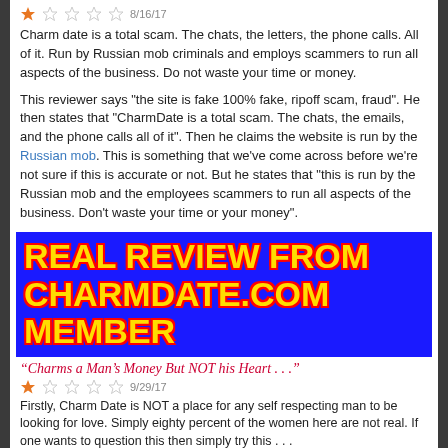[Figure (other): Star rating showing 1 out of 5 stars with date 8/16/17]
Charm date is a total scam. The chats, the letters, the phone calls. All of it. Run by Russian mob criminals and employs scammers to run all aspects of the business. Do not waste your time or money.
This reviewer says "the site is fake 100% fake, ripoff scam, fraud". He then states that "CharmDate is a total scam. The chats, the emails, and the phone calls all of it". Then he claims the website is run by the Russian mob. This is something that we've come across before we're not sure if this is accurate or not. But he states that "this is run by the Russian mob and the employees scammers to run all aspects of the business. Don't waste your time or your money".
REAL REVIEW FROM CHARMDATE.COM MEMBER
“Charms a Man’s Money But NOT his Heart . . .”
[Figure (other): Star rating showing 1 out of 5 stars with date 9/29/17]
Firstly, Charm Date is NOT a place for any self respecting man to be looking for love. Simply eighty percent of the women here are not real. If one wants to question this then simply try this . . .
Post a new account under another (New) email address and use a